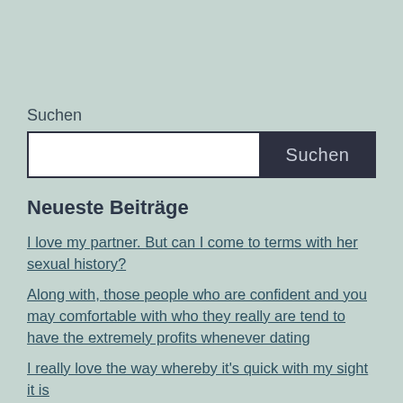Suchen
[Figure (screenshot): Search bar with white input field and dark button labeled 'Suchen']
Neueste Beiträge
I love my partner. But can I come to terms with her sexual history?
Along with, those people who are confident and you may comfortable with who they really are tend to have the extremely profits whenever dating
I really love the way whereby it's quick with my sight it is